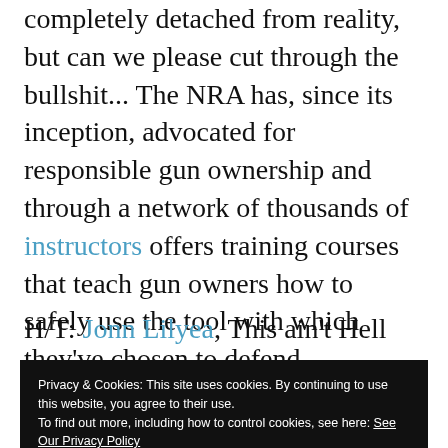completely detached from reality, but can we please cut through the bullshit... The NRA has, since its inception, advocated for responsible gun ownership and through a network of thousands of instructors offers training courses that teach gun owners how to safely use the tool with which they've chosen to defend themselves.
H/T: Jonn Lilyea, This ain't Hell
Privacy & Cookies: This site uses cookies. By continuing to use this website, you agree to their use. To find out more, including how to control cookies, see here: See Our Privacy Policy